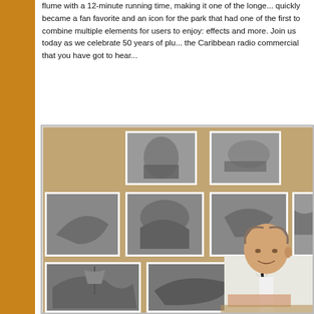flume with a 12-minute running time, making it one of the longe... quickly became a fan favorite and an icon for the park that had one of the first to combine multiple elements for users to enjoy: effects and more. Join us today as we celebrate 50 years of plu... the Caribbean radio commercial that you have got to hear...
[Figure (photo): Vintage black-and-white photograph of a man in a white shirt and dark tie working at a desk, surrounded by a corkboard covered with concept art illustrations, appearing to be design sketches of pirate ships and scenes.]